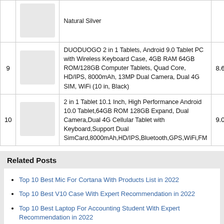| # | Image | Product | Score |
| --- | --- | --- | --- |
|  |  | Natural Silver |  |
| 9 | [image] | DUODUOGO 2 in 1 Tablets, Android 9.0 Tablet PC with Wireless Keyboard Case, 4GB RAM 64GB ROM/128GB Computer Tablets, Quad Core, HD/IPS, 8000mAh, 13MP Dual Camera, Dual 4G SIM, WiFi (10 in, Black) | 8.66 |
| 10 | [image] | 2 in 1 Tablet 10.1 Inch, High Performance Android 10.0 Tablet,64GB ROM 128GB Expand, Dual Camera,Dual 4G Cellular Tablet with Keyboard,Support Dual SimCard,8000mAh,HD/IPS,Bluetooth,GPS,WiFi,FM | 9.08 |
Related Posts
Top 10 Best Mic For Cortana With Products List in 2022
Top 10 Best V10 Case With Expert Recommendation in 2022
Top 10 Best Laptop For Accounting Student With Expert Recommendation in 2022